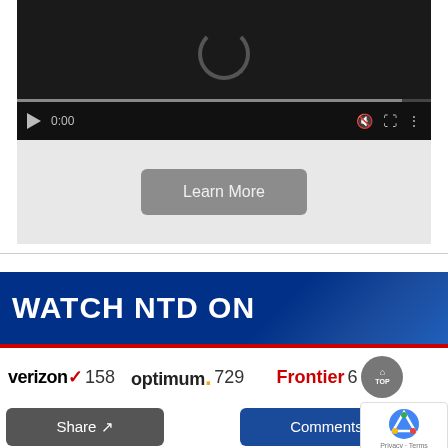[Figure (screenshot): Video player with dark background, spinner, playback controls showing 0:00 timestamp, mute icon, fullscreen icon, and more options icon. Progress bar at bottom.]
[Figure (screenshot): Light gray area below video player with a 'Learn More' rounded rectangle button in gray.]
[Figure (infographic): Dark navy blue banner with bold white text 'WATCH NTD ON' and a red stripe at the bottom.]
[Figure (screenshot): Row of TV provider logos: verizon checkmark 158, optimum. 729, Frontier 6... with a circular TOP button on right.]
[Figure (screenshot): Two buttons: gray 'Share' button with share icon on left, dark blue 'Comments' button with chat icon on right. reCAPTCHA badge on far right.]